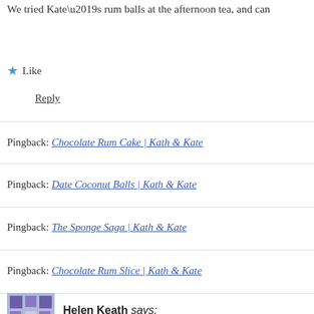We tried Kate’s rum balls at the afternoon tea, and can
★ Like
Reply
Pingback: Chocolate Rum Cake | Kath & Kate
Pingback: Date Coconut Balls | Kath & Kate
Pingback: The Sponge Saga | Kath & Kate
Pingback: Chocolate Rum Slice | Kath & Kate
Helen Keath says: January 30, 2017 at 5:17 am
Have just made Auntie Kaths walnut slice. Brings back